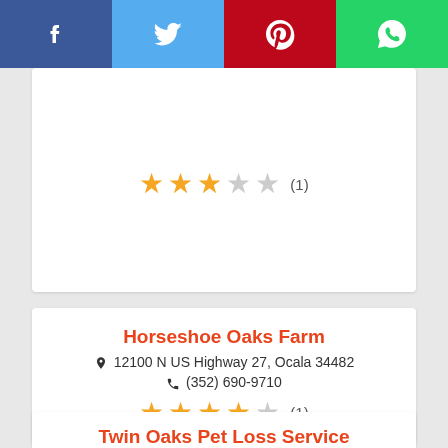[Figure (infographic): Social media share bar with Facebook (blue), Twitter (light blue), Pinterest (red), WhatsApp (green) icons]
[Figure (other): Star rating: 3 filled stars, 2 empty stars, (1) review count]
Horseshoe Oaks Farm
12100 N US Highway 27, Ocala 34482
(352) 690-9710
[Figure (other): Star rating: 4 filled stars, 1 empty star, (1) review count]
Twin Oaks Pet Loss Service
251 NE 300th St, Okeechobee 34972
(863) 467-6377